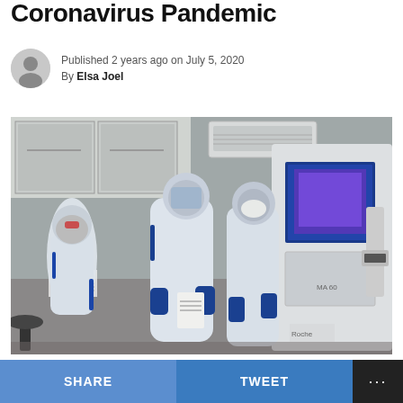Coronavirus Pandemic
Published 2 years ago on July 5, 2020
By Elsa Joel
[Figure (photo): Healthcare workers in full PPE (white protective suits, blue gloves, face shields/goggles) working inside a laboratory with large automated medical equipment featuring blue-lit panels, white cabinetry and a barcode scanner arm. Several workers appear to be reviewing documents or samples.]
SHARE   TWEET   ...